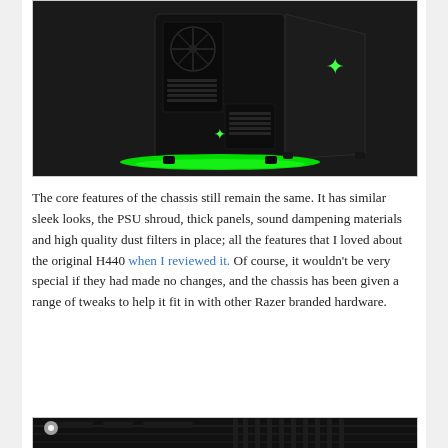[Figure (photo): NZXT H440 Razer Edition PC chassis in matte black with green Razer logo glowing LEDs at the base and side panel, angled view showing front and side.]
The core features of the chassis still remain the same. It has similar sleek looks, the PSU shroud, thick panels, sound dampening materials and high quality dust filters in place; all the features that I loved about the original H440 when I reviewed it. Of course, it wouldn't be very special if they had made no changes, and the chassis has been given a range of tweaks to help it fit in with other Razer branded hardware.
[Figure (photo): Close-up interior photo of the PC case showing cables and components, partially visible at the bottom of the page.]